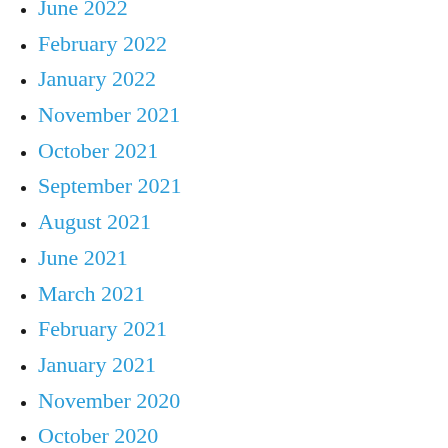June 2022
February 2022
January 2022
November 2021
October 2021
September 2021
August 2021
June 2021
March 2021
February 2021
January 2021
November 2020
October 2020
July 2020
May 2020
April 2020
February 2020